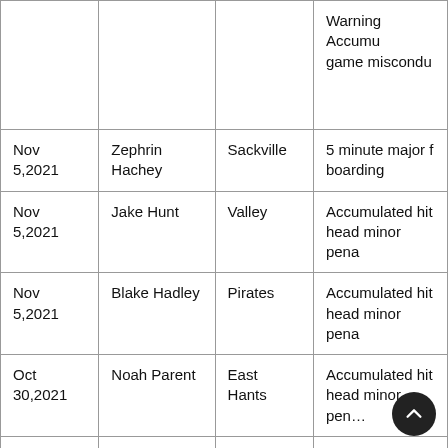| Date | Player | Team | Penalty |
| --- | --- | --- | --- |
|  |  |  | Warning Accumu… game miscondu… |
| Nov 5,2021 | Zephrin Hachey | Sackville | 5 minute major f… boarding |
| Nov 5,2021 | Jake Hunt | Valley | Accumulated hit… head minor pena… |
| Nov 5,2021 | Blake Hadley | Pirates | Accumulated hit… head minor pena… |
| Oct 30,2021 | Noah Parent | East Hants | Accumulated hit… head minor pen… |
| Oct 30, 2021 | Antle Denny | Eskasoni | Accumulated hit… head minor pen… |
| Oct 29, 2021 | Nolan Mcclelland | Strait | Accumulated h… game miscondu… |